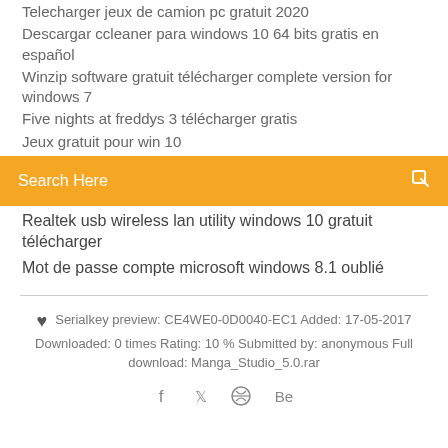Telecharger jeux de camion pc gratuit 2020
Descargar ccleaner para windows 10 64 bits gratis en español
Winzip software gratuit télécharger complete version for windows 7
Five nights at freddys 3 télécharger gratis
Jeux gratuit pour win 10
[Figure (screenshot): Orange search bar with text 'Search Here' and a small icon on the right]
Realtek usb wireless lan utility windows 10 gratuit télécharger
Mot de passe compte microsoft windows 8.1 oublié
Serialkey preview: CE4WE0-0D0040-EC1 Added: 17-05-2017
Downloaded: 0 times Rating: 10 % Submitted by: anonymous Full download: Manga_Studio_5.0.rar
[Figure (infographic): Social media icons: Facebook, Twitter, a compass/dribbble icon, and Behance]